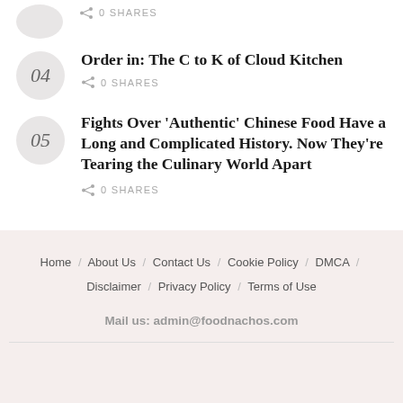0 SHARES (partial item at top, cut off)
04 Order in: The C to K of Cloud Kitchen — 0 SHARES
05 Fights Over 'Authentic' Chinese Food Have a Long and Complicated History. Now They're Tearing the Culinary World Apart — 0 SHARES
Home / About Us / Contact Us / Cookie Policy / DMCA / Disclaimer / Privacy Policy / Terms of Use
Mail us: admin@foodnachos.com